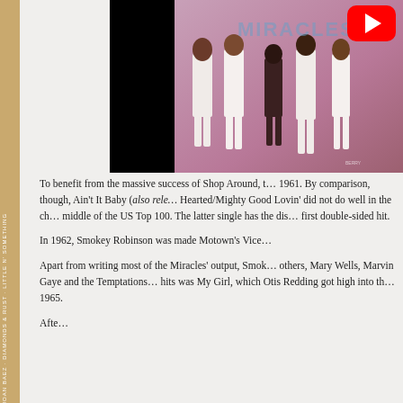[Figure (photo): Album or promotional photo showing figures standing in white clothing against a pinkish-purple background, with a YouTube play button overlay in the top right. A black panel is on the left side of the image.]
To benefit from the massive success of Shop Around, t… 1961. By comparison, though, Ain't It Baby (also rele… Hearted/Mighty Good Lovin' did not do well in the ch… middle of the US Top 100. The latter single has the dis… first double-sided hit.
In 1962, Smokey Robinson was made Motown's Vice…
Apart from writing most of the Miracles' output, Smok… others, Mary Wells, Marvin Gaye and the Temptations… hits was My Girl, which Otis Redding got high into th… 1965.
Afte…